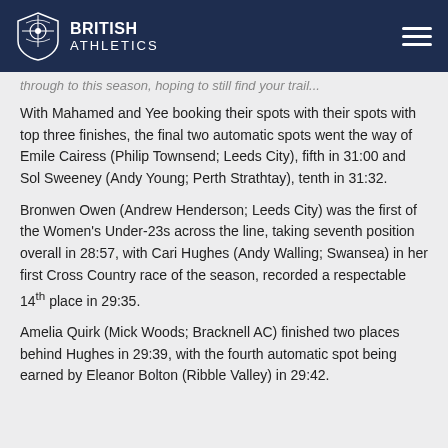BRITISH ATHLETICS
through to this season, hoping to still find your trail...
With Mahamed and Yee booking their spots with their spots with top three finishes, the final two automatic spots went the way of Emile Cairess (Philip Townsend; Leeds City), fifth in 31:00 and Sol Sweeney (Andy Young; Perth Strathtay), tenth in 31:32.
Bronwen Owen (Andrew Henderson; Leeds City) was the first of the Women's Under-23s across the line, taking seventh position overall in 28:57, with Cari Hughes (Andy Walling; Swansea) in her first Cross Country race of the season, recorded a respectable 14th place in 29:35.
Amelia Quirk (Mick Woods; Bracknell AC) finished two places behind Hughes in 29:39, with the fourth automatic spot being earned by Eleanor Bolton (Ribble Valley) in 29:42.